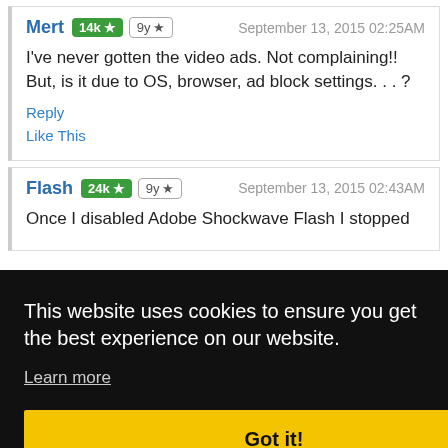Mert 14k ★ 9y ★   September 13, 2015 02:25AM
I've never gotten the video ads. Not complaining!! But, is it due to OS, browser, ad block settings. . . ?
Reply
Like This
Flash 24k ★ 9y ★   September 13, 2015 02:43AM
Once I disabled Adobe Shockwave Flash I stopped
This website uses cookies to ensure you get the best experience on our website.
Learn more
Got it!